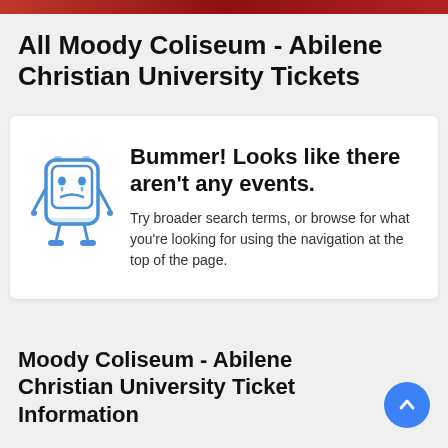All Moody Coliseum - Abilene Christian University Tickets
[Figure (illustration): Blue cartoon sad robot/phone character with drooping arms and sad face, used as empty state illustration]
Bummer! Looks like there aren't any events.
Try broader search terms, or browse for what you're looking for using the navigation at the top of the page.
Moody Coliseum - Abilene Christian University Ticket Information